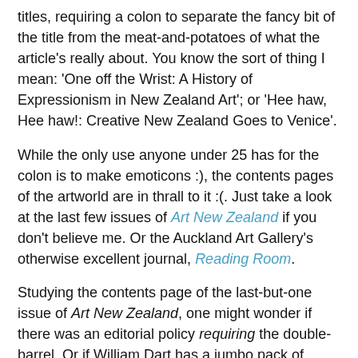titles, requiring a colon to separate the fancy bit of the title from the meat-and-potatoes of what the article's really about. You know the sort of thing I mean: 'One off the Wrist: A History of Expressionism in New Zealand Art'; or 'Hee haw, Hee haw!: Creative New Zealand Goes to Venice'.
While the only use anyone under 25 has for the colon is to make emoticons :), the contents pages of the artworld are in thrall to it :(. Just take a look at the last few issues of Art New Zealand if you don't believe me. Or the Auckland Art Gallery's otherwise excellent journal, Reading Room.
Studying the contents page of the last-but-one issue of Art New Zealand, one might wonder if there was an editorial policy requiring the double-barrel. Or if William Dart has a jumbo pack of letraset dots with a use-by date sitting on his desk.
Here's the line-up:
William Dart Building on a Tradition: Auckland's Holloway Press